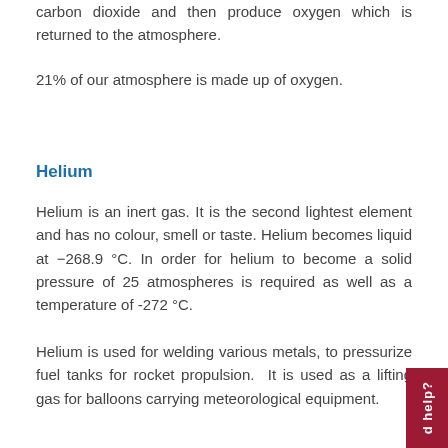carbon dioxide and then produce oxygen which is returned to the atmosphere.
21% of our atmosphere is made up of oxygen.
Helium
Helium is an inert gas. It is the second lightest element and has no colour, smell or taste. Helium becomes liquid at −268.9 °C. In order for helium to become a solid pressure of 25 atmospheres is required as well as a temperature of -272 °C.
Helium is used for welding various metals, to pressurize fuel tanks for rocket propulsion.  It is used as a lifting gas for balloons carrying meteorological equipment.